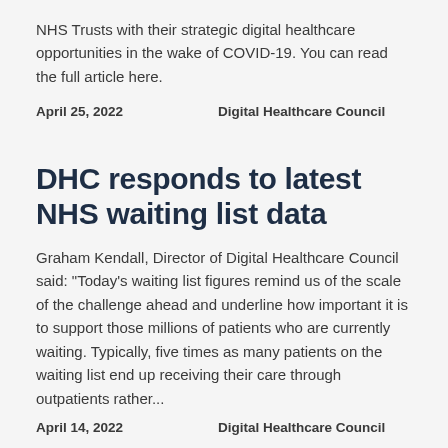NHS Trusts with their strategic digital healthcare opportunities in the wake of COVID-19. You can read the full article here.
April 25, 2022    Digital Healthcare Council
DHC responds to latest NHS waiting list data
Graham Kendall, Director of Digital Healthcare Council said: "Today's waiting list figures remind us of the scale of the challenge ahead and underline how important it is to support those millions of patients who are currently waiting. Typically, five times as many patients on the waiting list end up receiving their care through outpatients rather...
April 14, 2022    Digital Healthcare Council